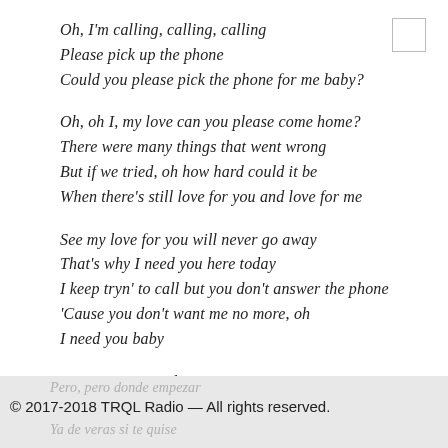Oh, I'm calling, calling, calling
Please pick up the phone
Could you please pick the phone for me baby?
Oh, oh I, my love can you please come home?
There were many things that went wrong
But if we tried, oh how hard could it be
When there's still love for you and love for me
See my love for you will never go away
That's why I need you here today
I keep tryn' to call but you don't answer the phone
'Cause you don't want me no more, oh
I need you baby
Tengo tanto que decir te
Pero, pero donde empezar
© 2017-2018 TRQL Radio — All rights reserved.
Ya de veras si te quise